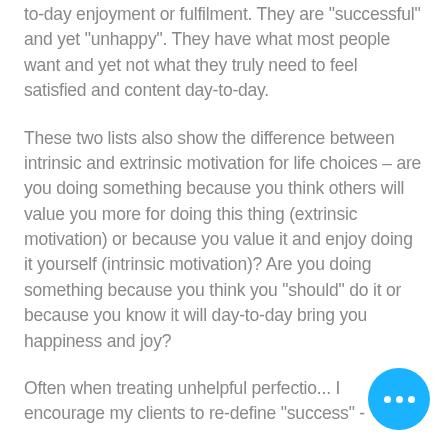to-day enjoyment or fulfilment. They are "successful" and yet "unhappy". They have what most people want and yet not what they truly need to feel satisfied and content day-to-day.
These two lists also show the difference between intrinsic and extrinsic motivation for life choices – are you doing something because you think others will value you more for doing this thing (extrinsic motivation) or because you value it and enjoy doing it yourself (intrinsic motivation)? Are you doing something because you think you "should" do it or because you know it will day-to-day bring you happiness and joy?
Often when treating unhelpful perfectio... I encourage my clients to re-define "success" -